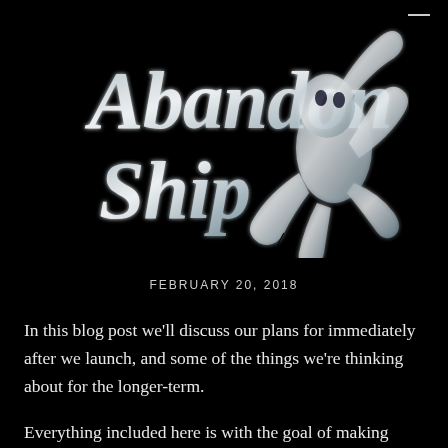[Figure (logo): Abandon Ship game logo with stylized text and squid/cthulhu-like creature illustration in silver/blue tones on black background]
FEBRUARY 20, 2018
In this blog post we'll discuss our plans for immediately after we launch, and some of the things we're thinking about for the longer-term.
Everything included here is with the goal of making